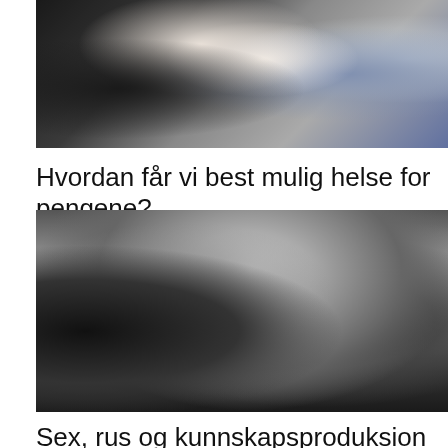[Figure (photo): Color photo (partially visible, cropped at top) showing people's hands and clothing — one person in a white shirt, another in a blue knitted sweater with a bracelet visible]
Hvordan får vi best mulig helse for pengene?
[Figure (photo): Black and white photo of two men facing each other closely, one with a tattoo on his shoulder/arm, both shirtless or bare-shouldered, with beards]
Sex, rus og kunnskapsproduksion